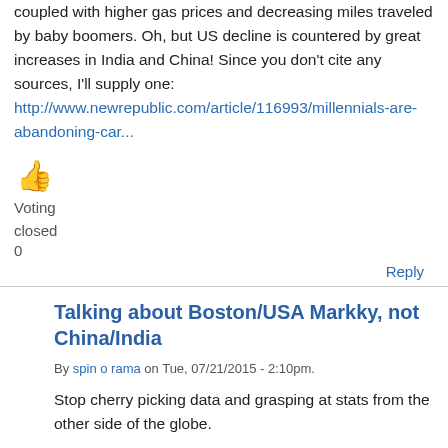coupled with higher gas prices and decreasing miles traveled by baby boomers. Oh, but US decline is countered by great increases in India and China! Since you don't cite any sources, I'll supply one: http://www.newrepublic.com/article/116993/millennials-are-abandoning-car...
[Figure (other): Thumbs up emoji icon in orange/yellow color]
Voting
closed
0
Reply
Talking about Boston/USA Markky, not China/India
By spin o rama on Tue, 07/21/2015 - 2:10pm.
Stop cherry picking data and grasping at stats from the other side of the globe.